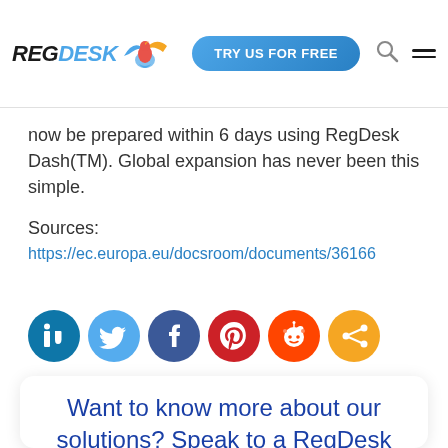REGDESK | TRY US FOR FREE
now be prepared within 6 days using RegDesk Dash(TM). Global expansion has never been this simple.
Sources:
https://ec.europa.eu/docsroom/documents/36166
[Figure (infographic): Row of 6 social media share icons: LinkedIn (dark blue), Twitter (light blue), Facebook (dark blue/navy), Pinterest (red), Reddit (orange-red), Share (orange)]
Want to know more about our solutions? Speak to a RegDesk